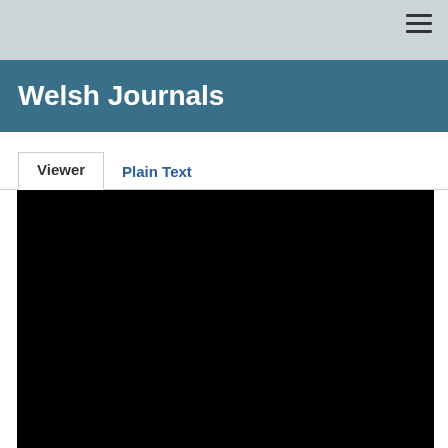Welsh Journals
Welsh Journals
Viewer  Plain Text
[Figure (screenshot): Black viewer content area showing a document viewer with black background, representing the Welsh Journals document viewer pane.]